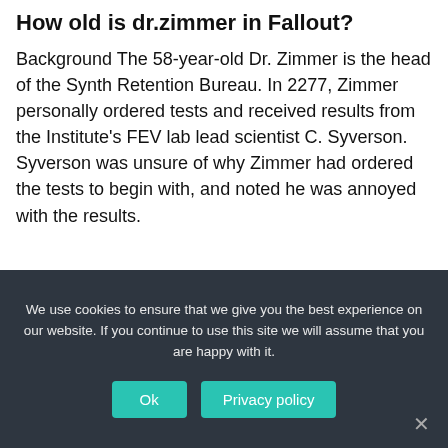How old is dr.zimmer in Fallout?
Background The 58-year-old Dr. Zimmer is the head of the Synth Retention Bureau. In 2277, Zimmer personally ordered tests and received results from the Institute's FEV lab lead scientist C. Syverson. Syverson was unsure of why Zimmer had ordered the tests to begin with, and noted he was annoyed with the results.
[Figure (screenshot): Video thumbnail showing Fallout 3: The Replicated Man - Zim... with a game logo on dark background]
We use cookies to ensure that we give you the best experience on our website. If you continue to use this site we will assume that you are happy with it.